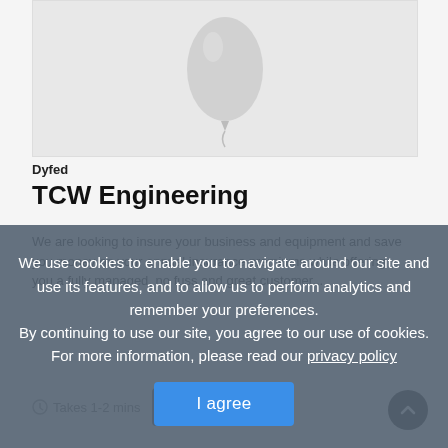[Figure (illustration): A grey balloon graphic centered in a card image area]
Dyfed
TCW Engineering
We use cookies to enable you to navigate around our site and use its features, and to allow us to perform analytics and remember your preferences. By continuing to use our site, you agree to our use of cookies. For more information, please read our privacy policy
I agree